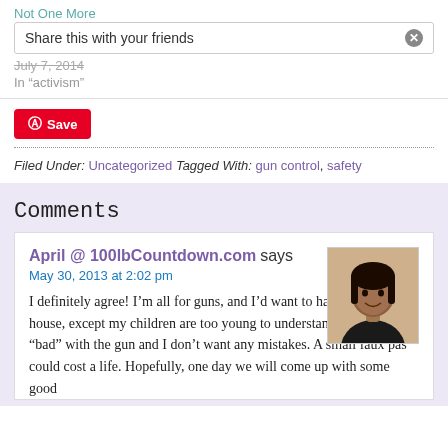Not One More
Share this with your friends
July 7, 2014
In “activism”
Save
Filed Under: Uncategorized Tagged With: gun control, safety
Comments
April @ 100lbCountdown.com says
May 30, 2013 at 2:02 pm
I definitely agree! I’m all for guns, and I’d want to have one in the house, except my children are too young to understand “good” and “bad” with the gun and I don’t want any mistakes. A small faux pas could cost a life. Hopefully, one day we will come up with some good